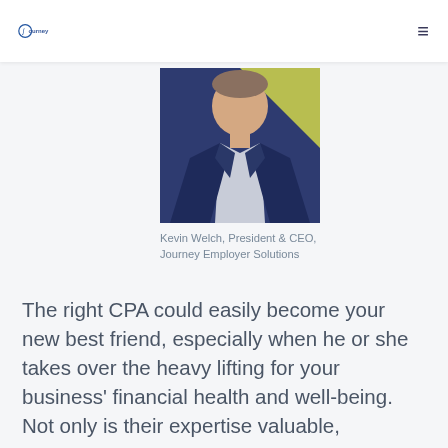Journey
[Figure (photo): Photo of Kevin Welch, President & CEO, Journey Employer Solutions — a man in a dark blue suit with a light shirt, cropped to show upper body and head with yellow-green background.]
Kevin Welch, President & CEO, Journey Employer Solutions
The right CPA could easily become your new best friend, especially when he or she takes over the heavy lifting for your business' financial health and well-being. Not only is their expertise valuable, establishing a partnership with a trusted financial advisor gives you time to work on your business. The difference is subtle, but it makes all the sense in the world: you do what you do best, while the